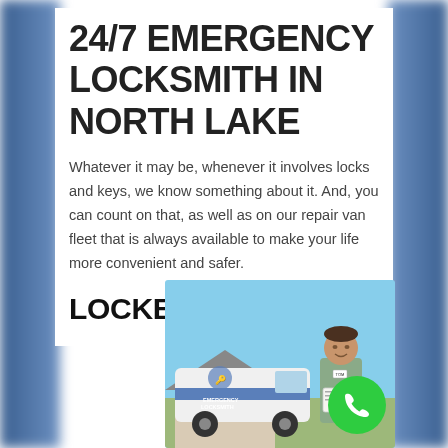24/7 EMERGENCY LOCKSMITH IN NORTH LAKE
Whatever it may be, whenever it involves locks and keys, we know something about it. And, you can count on that, as well as on our repair van fleet that is always available to make your life more convenient and safer.
LOCKED OUT?
[Figure (photo): A locksmith technician in a grey uniform standing next to a white emergency locksmith van, smiling and holding a clipboard, photographed outdoors in a residential area.]